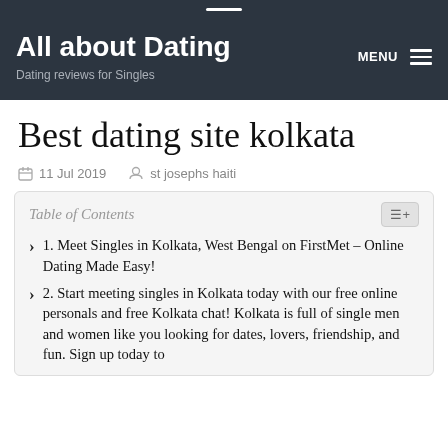All about Dating — Dating reviews for Singles
Best dating site kolkata
11 Jul 2019   st josephs haiti
1. Meet Singles in Kolkata, West Bengal on FirstMet – Online Dating Made Easy!
2. Start meeting singles in Kolkata today with our free online personals and free Kolkata chat! Kolkata is full of single men and women like you looking for dates, lovers, friendship, and fun. Sign up today to